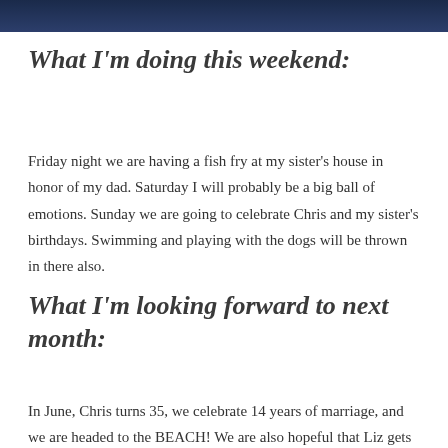[Figure (photo): Dark blue header image at the top of the page]
What I'm doing this weekend:
Friday night we are having a fish fry at my sister's house in honor of my dad.  Saturday I will probably be a big ball of emotions.  Sunday we are going to celebrate Chris and my sister's birthdays.  Swimming and playing with the dogs will be thrown in there also.
What I'm looking forward to next month:
In June, Chris turns 35, we celebrate 14 years of marriage, and we are headed to the BEACH!  We are also hopeful that Liz gets